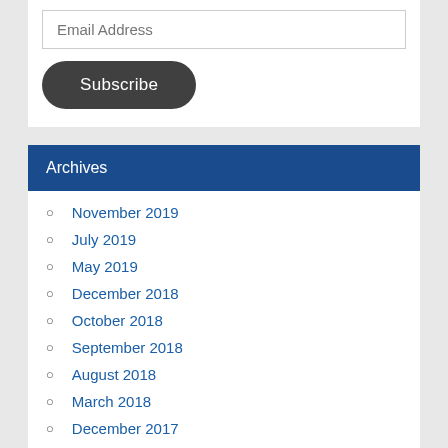Email Address
Subscribe
Archives
November 2019
July 2019
May 2019
December 2018
October 2018
September 2018
August 2018
March 2018
December 2017
November 2017
September 2017
July 2017